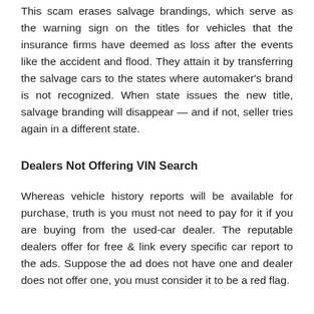This scam erases salvage brandings, which serve as the warning sign on the titles for vehicles that the insurance firms have deemed as loss after the events like the accident and flood. They attain it by transferring the salvage cars to the states where automaker's brand is not recognized. When state issues the new title, salvage branding will disappear — and if not, seller tries again in a different state.
Dealers Not Offering VIN Search
Whereas vehicle history reports will be available for purchase, truth is you must not need to pay for it if you are buying from the used-car dealer. The reputable dealers offer for free & link every specific car report to the ads. Suppose the ad does not have one and dealer does not offer one, you must consider it to be a red flag.